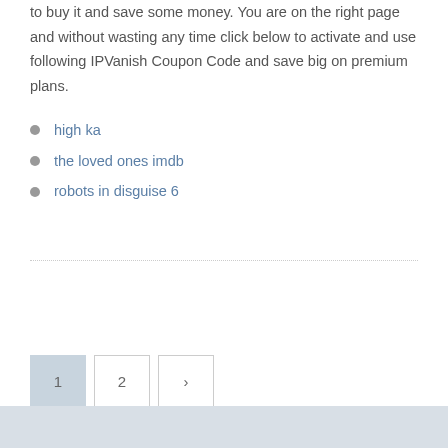to buy it and save some money. You are on the right page and without wasting any time click below to activate and use following IPVanish Coupon Code and save big on premium plans.
high ka
the loved ones imdb
robots in disguise 6
[Figure (other): Pagination controls showing page 1 (active/highlighted), page 2, and a next arrow button]